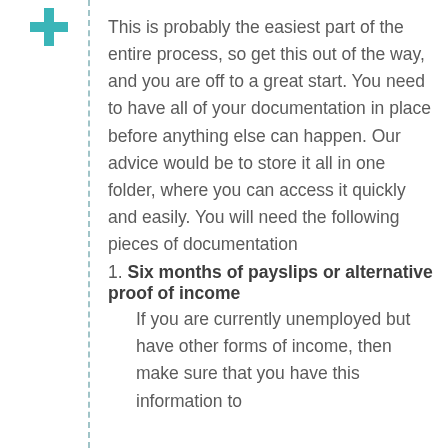This is probably the easiest part of the entire process, so get this out of the way, and you are off to a great start. You need to have all of your documentation in place before anything else can happen. Our advice would be to store it all in one folder, where you can access it quickly and easily. You will need the following pieces of documentation
1. Six months of payslips or alternative proof of income If you are currently unemployed but have other forms of income, then make sure that you have this information to